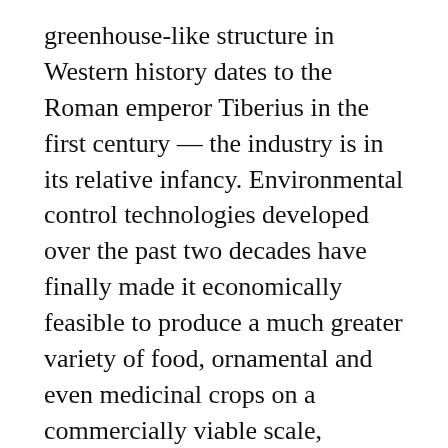greenhouse-like structure in Western history dates to the Roman emperor Tiberius in the first century — the industry is in its relative infancy. Environmental control technologies developed over the past two decades have finally made it economically feasible to produce a much greater variety of food, ornamental and even medicinal crops on a commercially viable scale, Nemali says.
For consumers, CEA ensures ready access to year-round, locally sourced, healthy foods. For producers, CEA provides an opportunity to grow a greater variety of crops while extending the growing season. By generating more revenue from the agricultural sector,